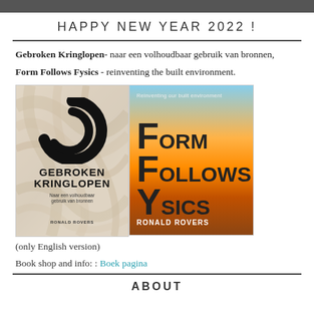HAPPY NEW YEAR 2022 !
Gebroken Kringlopen- naar een volhoudbaar gebruik van bronnen,
Form Follows Fysics - reinventing the built environment.
[Figure (photo): Two book covers side by side: left is 'Gebroken Kringlopen' by Ronald Rovers with marbled cream background and circular logo; right is 'Form Follows Fysics' by Ronald Rovers with sunset/orange sky background and large block-letter F title treatment.]
(only English version)
Book shop and info: : Boek pagina
ABOUT